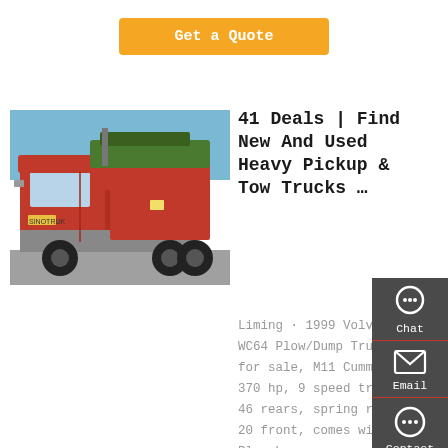Get a Quote
[Figure (photo): Red heavy duty tow/dump truck photographed from the side, with green machinery visible on top, parked outdoors under a blue sky.]
41 Deals | Find New And Used Heavy Pickup & Tow Trucks …
Liming · 1999 Volvo WC64 Plow/Dump Truck for sale, M11 Cummins 370 hp, 9 speed trans, 46 rears, spring ride, 20 front, comes with Plow harness, one way Plow and wing ( wing missing